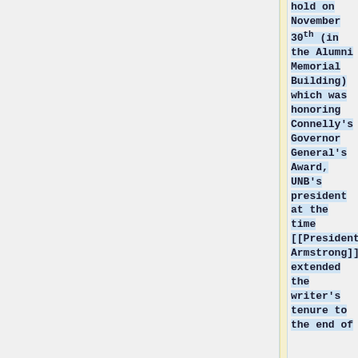hold on November 30<sup>th</sup> (in the Alumni Memorial Building) which was honoring Connelly's Governor General's Award, UNB's president at the time [[Presidents|Robin Armstrong]] extended the writer's tenure to the end of